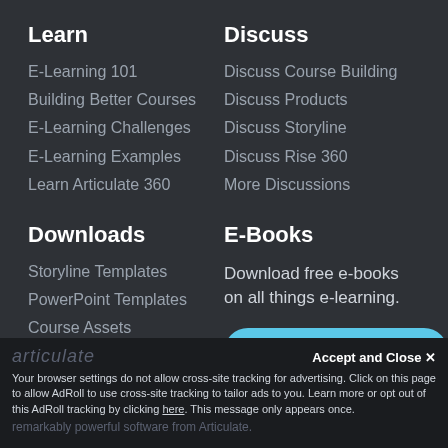Learn
E-Learning 101
Building Better Courses
E-Learning Challenges
E-Learning Examples
Learn Articulate 360
Discuss
Discuss Course Building
Discuss Products
Discuss Storyline
Discuss Rise 360
More Discussions
Downloads
Storyline Templates
PowerPoint Templates
Course Assets
Course Design Aids
More Downloads
E-Books
Download free e-books on all things e-learning.
Free E-Books
articulate
Accept and Close ✕
Your browser settings do not allow cross-site tracking for advertising. Click on this page to allow AdRoll to use cross-site tracking to tailor ads to you. Learn more or opt out of this AdRoll tracking by clicking here. This message only appears once.
remarkably powerful software from Articulate.